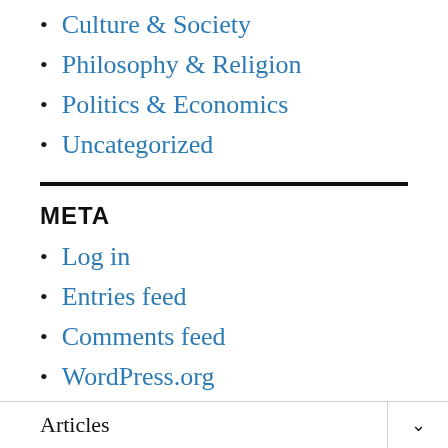Culture & Society
Philosophy & Religion
Politics & Economics
Uncategorized
META
Log in
Entries feed
Comments feed
WordPress.org
Articles